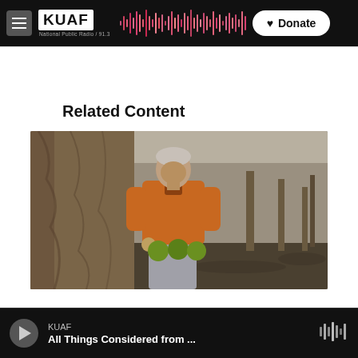KUAF National Public Radio 91.3 — Donate
Related Content
[Figure (photo): A person in an orange jacket standing next to a large tree trunk, holding green round fruits (osage oranges/hedge apples), outdoors in a wooded area.]
KUAF — All Things Considered from ...